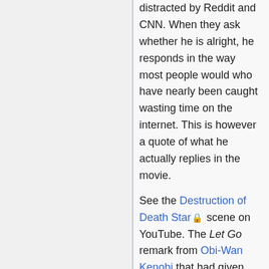distracted by Reddit and CNN. When they ask whether he is alright, he responds in the way most people would who have nearly been caught wasting time on the internet. This is however a quote of what he actually replies in the movie.
See the Destruction of Death Star🔒 scene on YouTube. The Let Go remark from Obi-Wan Kenobi that had given the title to this comic occurs about two minutes into the clip🔒. Though here it is a reference to let go of refreshing websites...
The headlines on CNN read 'Bees?', 'Where is Oman?', and 'iReport (we mean you, that is).'.